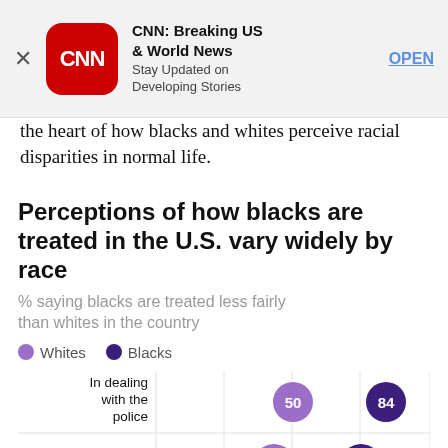[Figure (screenshot): CNN app advertisement banner with logo, title 'CNN: Breaking US & World News', subtitle 'Stay Updated on Developing Stories', and OPEN button]
the heart of how blacks and whites perceive racial disparities in normal life.
Perceptions of how blacks are treated in the U.S. vary widely by race
[Figure (dot-chart): Perceptions of how blacks are treated in the U.S. vary widely by race]